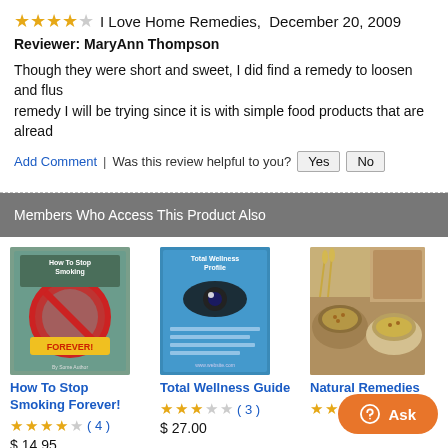I Love Home Remedies,  December 20, 2009
Reviewer: MaryAnn Thompson
Though they were short and sweet, I did find a remedy to loosen and flus... remedy I will be trying since it is with simple food products that are already...
Add Comment  |  Was this review helpful to you?  Yes  No
Members Who Access This Product Also
[Figure (illustration): Book cover: How To Stop Smoking Forever! with red no-smoking symbol]
How To Stop Smoking Forever!
4 stars (4) $ 14.95
[Figure (illustration): Book cover: Total Wellness Guide, blue cover with eye graphic]
Total Wellness Guide
3 stars (3) $ 27.00
[Figure (photo): Natural Remedies: Photo of grains and spices in bowls]
Natural Remedies
4 stars (1)